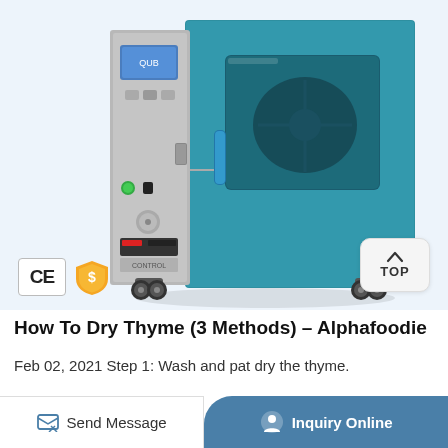[Figure (photo): Laboratory oven/drying oven with teal/blue-green cabinet door featuring a large glass window, mounted on casters. The left side shows a gray metallic control panel with digital display, buttons, and knobs. CE certification badge and a gold shield badge visible at bottom left. A 'TOP' navigation button is at bottom right.]
How To Dry Thyme (3 Methods) – Alphafoodie
Feb 02, 2021 Step 1: Wash and pat dry the thyme.
Send Message | Inquiry Online